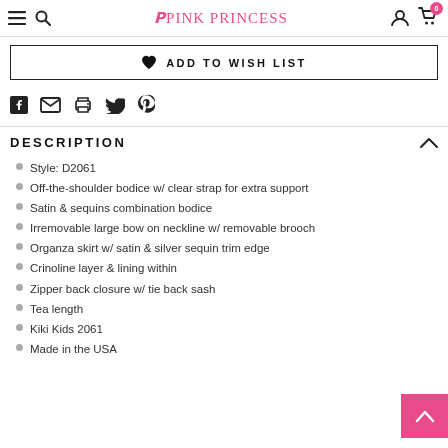Pink Princess — navigation bar with menu, search, account, and cart icons
♥ ADD TO WISH LIST
Social share icons: Facebook, Email, Print, Twitter, Pinterest
DESCRIPTION
Style: D2061
Off-the-shoulder bodice w/ clear strap for extra support
Satin & sequins combination bodice
Irremovable large bow on neckline w/ removable brooch
Organza skirt w/ satin & silver sequin trim edge
Crinoline layer & lining within
Zipper back closure w/ tie back sash
Tea length
Kiki Kids 2061
Made in the USA